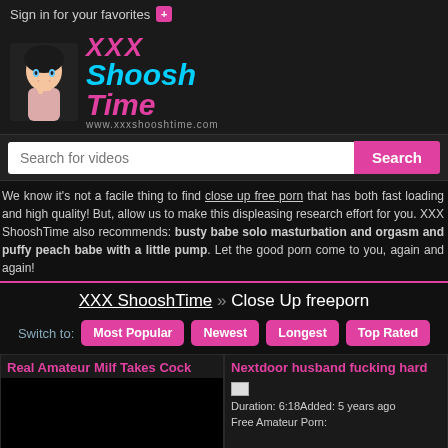Sign in for your favorites [+]
[Figure (logo): XXX ShooshTime logo with cartoon mascot woman and URL www.xxxshooshtime.com]
Search for videos
We know it's not a facile thing to find close up free porn that has both fast loading and high quality! But, allow us to make this displeasing research effort for you. XXX ShooshTime also recommends: busty babe solo masturbation and orgasm and puffy peach babe with a little pump. Let the good porn come to you, again and again!
XXX ShooshTime » Close Up freeporn
Switch to: Most Popular | Newest | Longest | Top Rated
Real Amateur Milf Takes Cock
Nextdoor husband fucking hard
Duration: 6:18Added: 5 years ago Free Amateur Porn: